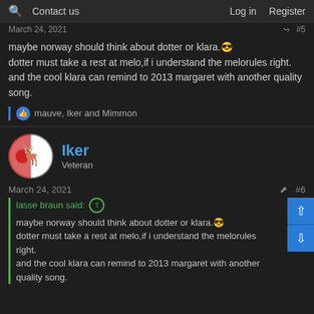Q  Contact us  Log in  Register
March 24, 2021  #5
maybe norway should think about dotter or klara.😎
dotter must take a rest at melo,if i understand the melorules right.
and the cool klara can remind to 2013 margaret with another quality song.
👍 mauve, Iker and Mimmon
Iker
Veteran
March 24, 2021  #6
lasse braun said: ⬆
maybe norway should think about dotter or klara.😎
dotter must take a rest at melo,if i understand the melorules right.
and the cool klara can remind to 2013 margaret with another quality song.